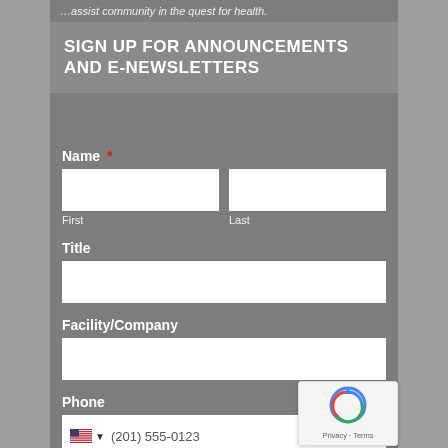…assist community in the quest for health.
SIGN UP FOR ANNOUNCEMENTS AND E-NEWSLETTERS
Name *
First
Last
Title
Facility/Company
Phone
(201) 555-0123